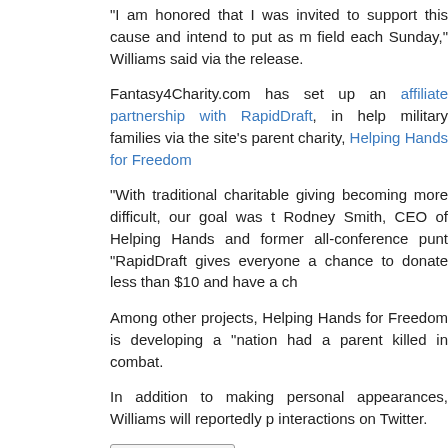“I am honored that I was invited to support this cause and intend to put as m field each Sunday,” Williams said via the release.
Fantasy4Charity.com has set up an affiliate partnership with RapidDraft, in help military families via the site’s parent charity, Helping Hands for Freedom
“With traditional charitable giving becoming more difficult, our goal was t Rodney Smith, CEO of Helping Hands and former all-conference punt “RapidDraft gives everyone a chance to donate less than $10 and have a ch
Among other projects, Helping Hands for Freedom is developing a “nation had a parent killed in combat.
In addition to making personal appearances, Williams will reportedly p interactions on Twitter.
[Figure (other): Share/Save button]
Posted in Lead Stories | No Comme